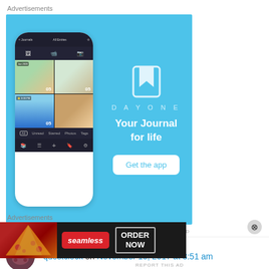Advertisements
[Figure (screenshot): DayOne app advertisement banner with blue background showing a smartphone with journal entries and the text 'DAYONE Your Journal for life' and a 'Get the app' button]
REPORT THIS AD
questclock on November 10, 2017 at 8:51 am
This is a shameless plug, but like everyone else
Advertisements
[Figure (screenshot): Seamless food ordering advertisement showing pizza slices, Seamless logo and ORDER NOW button on dark background]